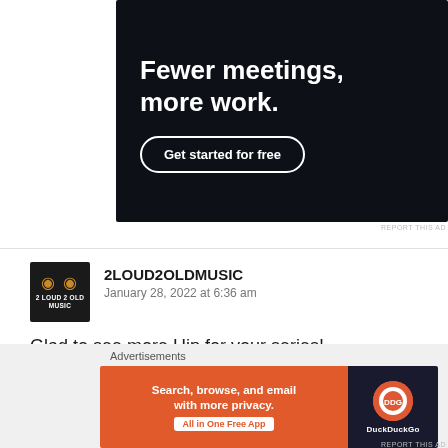[Figure (illustration): Dark-themed advertisement banner with white text 'Fewer meetings, more work.' and a 'Get started for free' button with rounded border]
REPORT THIS AD
2LOUD2OLDMUSIC
January 28, 2022 at 6:36 am
Glad to see more Hip for your series!
Liked by 1 person
Advertisements
[Figure (illustration): DuckDuckGo advertisement banner: orange left panel with 'Search, browse, and email with more privacy. All in One Free App' and dark right panel with DuckDuckGo logo]
REPORT THIS AD